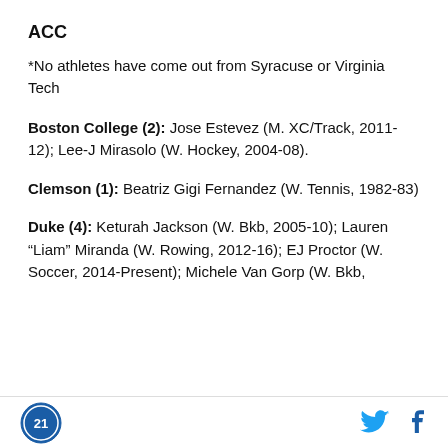ACC
*No athletes have come out from Syracuse or Virginia Tech
Boston College (2): Jose Estevez (M. XC/Track, 2011-12); Lee-J Mirasolo (W. Hockey, 2004-08).
Clemson (1): Beatriz Gigi Fernandez (W. Tennis, 1982-83)
Duke (4): Keturah Jackson (W. Bkb, 2005-10); Lauren "Liam" Miranda (W. Rowing, 2012-16); EJ Proctor (W. Soccer, 2014-Present); Michele Van Gorp (W. Bkb,